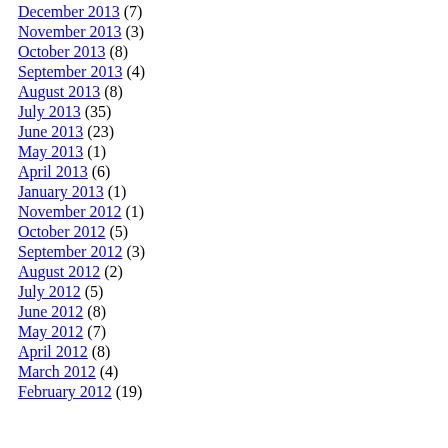December 2013 (7)
November 2013 (3)
October 2013 (8)
September 2013 (4)
August 2013 (8)
July 2013 (35)
June 2013 (23)
May 2013 (1)
April 2013 (6)
January 2013 (1)
November 2012 (1)
October 2012 (5)
September 2012 (3)
August 2012 (2)
July 2012 (5)
June 2012 (8)
May 2012 (7)
April 2012 (8)
March 2012 (4)
February 2012 (19)